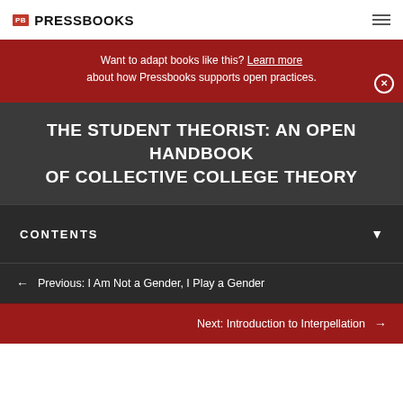PB PRESSBOOKS
Want to adapt books like this? Learn more about how Pressbooks supports open practices.
THE STUDENT THEORIST: AN OPEN HANDBOOK OF COLLECTIVE COLLEGE THEORY
CONTENTS
Previous: I Am Not a Gender, I Play a Gender
Next: Introduction to Interpellation